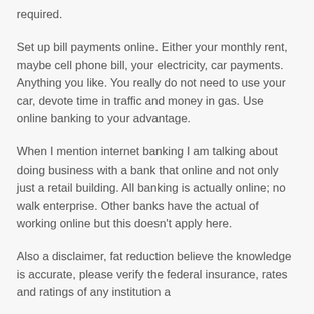required.
Set up bill payments online. Either your monthly rent, maybe cell phone bill, your electricity, car payments. Anything you like. You really do not need to use your car, devote time in traffic and money in gas. Use online banking to your advantage.
When I mention internet banking I am talking about doing business with a bank that online and not only just a retail building. All banking is actually online; no walk enterprise. Other banks have the actual of working online but this doesn’t apply here.
Also a disclaimer, fat reduction believe the knowledge is accurate, please verify the federal insurance, rates and ratings of any institution a